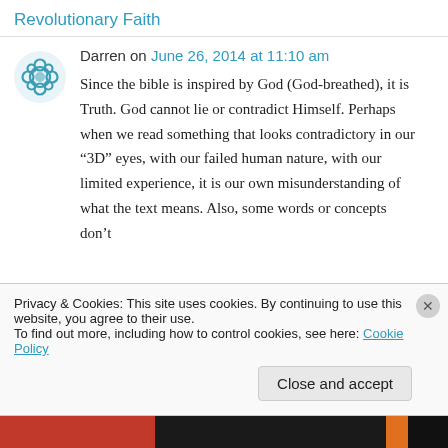Revolutionary Faith
Darren on June 26, 2014 at 11:10 am
Since the bible is inspired by God (God-breathed), it is Truth. God cannot lie or contradict Himself. Perhaps when we read something that looks contradictory in our “3D” eyes, with our failed human nature, with our limited experience, it is our own misunderstanding of what the text means. Also, some words or concepts don’t
Privacy & Cookies: This site uses cookies. By continuing to use this website, you agree to their use.
To find out more, including how to control cookies, see here: Cookie Policy
Close and accept